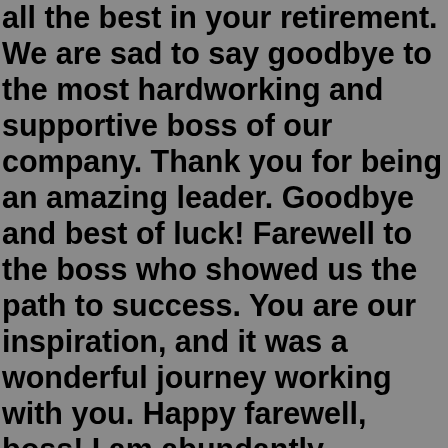all the best in your retirement. We are sad to say goodbye to the most hardworking and supportive boss of our company. Thank you for being an amazing leader. Goodbye and best of luck! Farewell to the boss who showed us the path to success. You are our inspiration, and it was a wonderful journey working with you. Happy farewell, boss! I am abundantly thankful for the patience and guidance I have received from you! Thank you for all the support and guidance that you provided. I wish you good health and wealth. I will keep your gesture forever in my heart. Thank you for everything. Farewell, boss! Working under your guidance has been a great pleasure, Sir!Best Farewell Wishes For Boss! We give our sincerest greetings to our loved ones and families for weddings, birthdays, and other significant occasions. You should wish individuals close to you to heal, even if they are sick or going through a terrible time. Here are Best Farewell Quotes for boss. – Boss, I salute you for being a genuine leader. Hope I can reach the standards set by